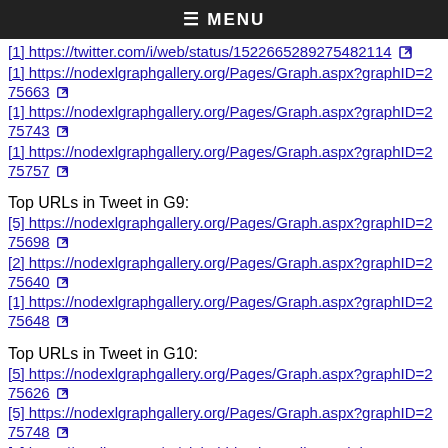≡ MENU
[1] https://twitter.com/i/web/status/1522665289275482114
[1] https://nodexlgraphgallery.org/Pages/Graph.aspx?graphID=275663
[1] https://nodexlgraphgallery.org/Pages/Graph.aspx?graphID=275743
[1] https://nodexlgraphgallery.org/Pages/Graph.aspx?graphID=275757
Top URLs in Tweet in G9:
[5] https://nodexlgraphgallery.org/Pages/Graph.aspx?graphID=275698
[2] https://nodexlgraphgallery.org/Pages/Graph.aspx?graphID=275640
[1] https://nodexlgraphgallery.org/Pages/Graph.aspx?graphID=275648
Top URLs in Tweet in G10:
[5] https://nodexlgraphgallery.org/Pages/Graph.aspx?graphID=275626
[5] https://nodexlgraphgallery.org/Pages/Graph.aspx?graphID=275748
[3] https://medium.com/m/global-identity?redirectUrl=https%3A%2F%2Fhumanparts.medium.com%2Fmen-cause-100-of-unwanted-pregnancies-eb0e8288a7e5
[2] https://www.ai-summary.com/summary-deepmind-s-losses-